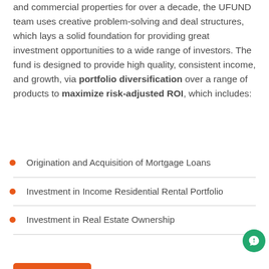and commercial properties for over a decade, the UFUND team uses creative problem-solving and deal structures, which lays a solid foundation for providing great investment opportunities to a wide range of investors. The fund is designed to provide high quality, consistent income, and growth, via portfolio diversification over a range of products to maximize risk-adjusted ROI, which includes:
Origination and Acquisition of Mortgage Loans
Investment in Income Residential Rental Portfolio
Investment in Real Estate Ownership